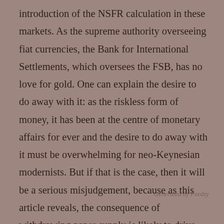introduction of the NSFR calculation in these markets. As the supreme authority overseeing fiat currencies, the Bank for International Settlements, which oversees the FSB, has no love for gold. One can explain the desire to do away with it: as the riskless form of money, it has been at the centre of monetary affairs for ever and the desire to do away with it must be overwhelming for neo-Keynesian modernists. But if that is the case, then it will be a serious misjudgement, because as this article reveals, the consequence of withdrawing paper supply is likely to drive the gold price significantly higher, along with silver and a host of other important commodity prices. Furthermore, this delayed act, first published in 2014, now comes at a time of rapidly rising commodity prices, reflecting the unprecedented acceleration of global money-printing in 2020, which ironically proves the importance of sound money